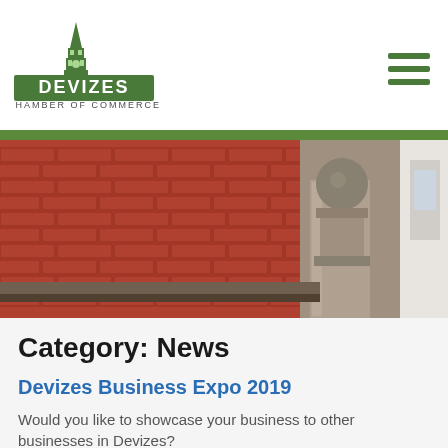[Figure (logo): Devizes Chamber of Commerce logo — green church tower illustration above a green rectangle with white text 'DEVIZES', and 'CHAMBER OF COMMERCE' in small caps below]
[Figure (photo): Photograph of a red brick wall with a stone architectural finial (ball on pedestal) in the foreground]
Category: News
Devizes Business Expo 2019
Would you like to showcase your business to other businesses in Devizes?